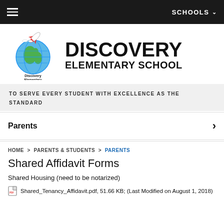SCHOOLS
[Figure (logo): Discovery Elementary School logo with globe and rocket]
DISCOVERY ELEMENTARY SCHOOL
TO SERVE EVERY STUDENT WITH EXCELLENCE AS THE STANDARD
Parents
HOME > PARENTS & STUDENTS > PARENTS
Shared Affidavit Forms
Shared Housing (need to be notarized)
Shared_Tenancy_Affidavit.pdf, 51.66 KB; (Last Modified on August 1, 2018)